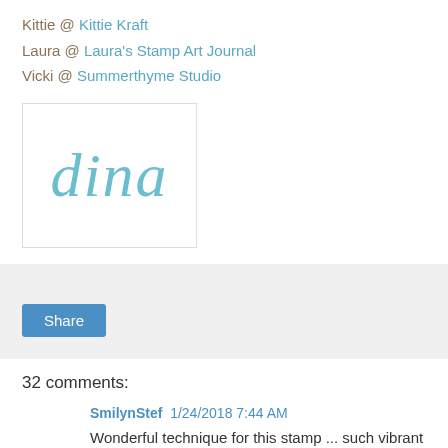Kittie @ Kittie Kraft
Laura @ Laura's Stamp Art Journal
Vicki @ Summerthyme Studio
[Figure (illustration): Handwritten cursive signature reading 'dina' in light blue, inside a white box with a light border]
Share
32 comments:
SmilynStef  1/24/2018 7:44 AM
Wonderful technique for this stamp ... such vibrant colors.
Reply